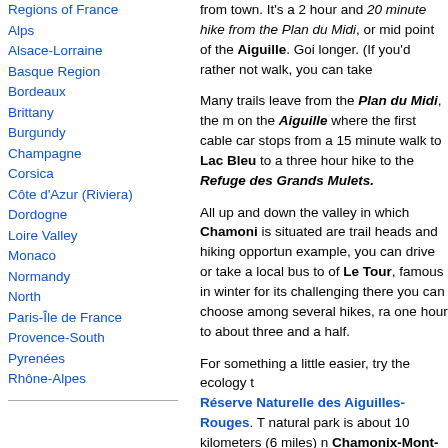Regions of France
Alps
Alsace-Lorraine
Basque Region
Bordeaux
Brittany
Burgundy
Champagne
Corsica
Côte d'Azur (Riviera)
Dordogne
Loire Valley
Monaco
Normandy
North
Paris-Île de France
Provence-South
Pyrenées
Rhône-Alpes
from town. It's a 2 hour and 20 minute hike from the Plan du Midi, or mid point of the Aiguille. Going back takes a bit longer. (If you'd rather not walk, you can take the cable cars.)
Many trails leave from the Plan du Midi, the mid station on the Aiguille where the first cable car stops. Ranging from a 15 minute walk to Lac Bleu to a three and a half hour hike to the Refuge des Grands Mulets.
All up and down the valley in which Chamonix is situated are trail heads and hiking opportunities. For example, you can drive or take a local bus to the village of Le Tour, famous in winter for its challenging ski runs; there you can choose among several hikes, ranging from one hour to about three and a half.
For something a little easier, try the ecology trail at the Réserve Naturelle des Aiguilles-Rouges. The natural park is about 10 kilometers (6 miles) north of Chamonix-Mont-Blanc. The ecology walk is slightly less than a kilometer/slightly less than a mile in length, over fairly level terrain. A series of 16 markers indicates points of botanical or natural interest; you can pick up a guide book from the Accueil or Welcome Center. But it's also great just to walk and enjoy the splendid view of Aiguilles and glaciers.
For those more ambitious, there are several other hikes you can pick up at the Accueil, including to La... hours) and La Fégère (3.5 hours).